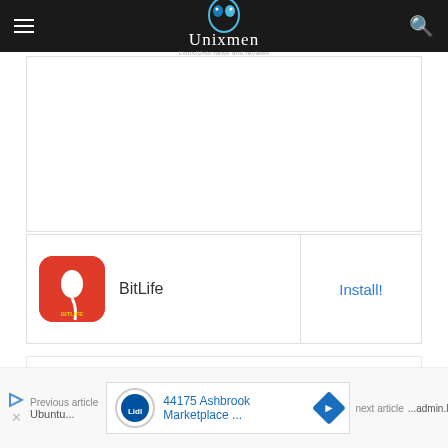Unixmen - Linux/Unix news and reviews
[Figure (screenshot): Blank white advertisement area]
[Figure (screenshot): BitLife app install banner with red BitLife icon, app name 'BitLife', and 'Install!' link button]
[Figure (screenshot): Social sharing bar with Facebook, Twitter, Google+, Pinterest, WhatsApp icons, Like 0 button, and tweet link]
[Figure (screenshot): Bottom navigation bar with previous article link and Lidl advertisement banner showing '44175 Ashbrook Marketplace ...']